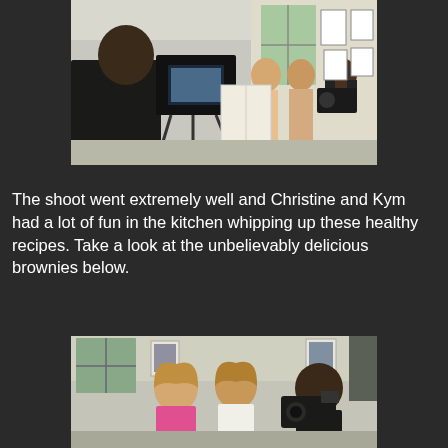[Figure (photo): Behind-the-scenes photo of a kitchen video shoot. A person in dark clothing sits in foreground watching a monitor on a camera rig, while in the background two women and a cameraman with headphones are filming in a bright kitchen with framed photos on the wall.]
The shoot went extremely well and Christine and Kym had a lot of fun in the kitchen whipping up these healthy recipes. Take a look at the unbelievably delicious brownies below.
[Figure (photo): Three people in a kitchen: two women with long blonde hair (one in a pink top, one in white) looking down at something, and a man in dark clothing holding a professional camera filming them. The kitchen has large windows and framed art on the walls.]